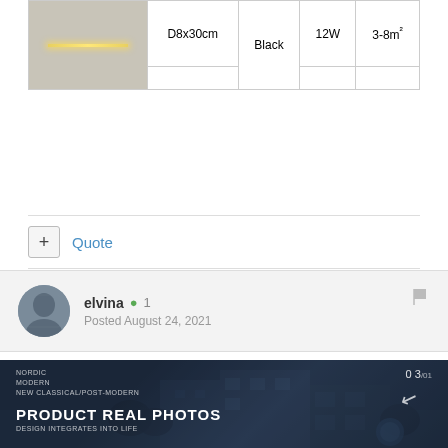|  | Size | Color | Power | Area |
| --- | --- | --- | --- | --- |
| [image] | D8x30cm | Black | 12W | 3-8m² |
|  |  |  |  |  |
[Figure (other): Wall light fixture showing a horizontal glowing bar on a grey background]
+ Quote
elvina ✪ 1
Posted August 24, 2021
[Figure (photo): Dark blue product promotional banner showing a modern building at night with text: NORDIC MODERN / NEW CLASSICAL/POST-MODERN / 03/01 / PRODUCT REAL PHOTOS / DESIGN INTEGRATES INTO LIFE]